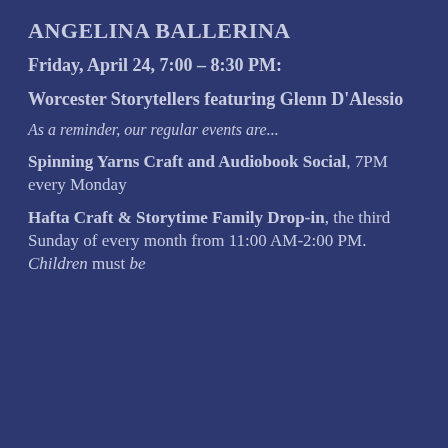ANGELINA BALLERINA
Friday, April 24, 7:00 – 8:30 PM:
Worcester Storytellers featuring Glenn D'Alessio
As a reminder, our regular events are...
Spinning Yarns Craft and Audiobook Social, 7PM every Monday
Hafta Craft & Storytime Family Drop-in, the third Sunday of every month from 11:00 AM-2:00 PM. Children must be